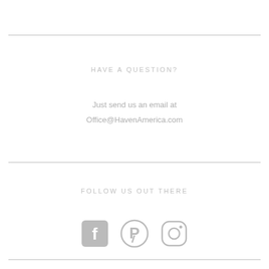HAVE A QUESTION?
Just send us an email at
Office@HavenAmerica.com
FOLLOW US OUT THERE
[Figure (illustration): Social media icons: Facebook, Pinterest, Instagram in gray]